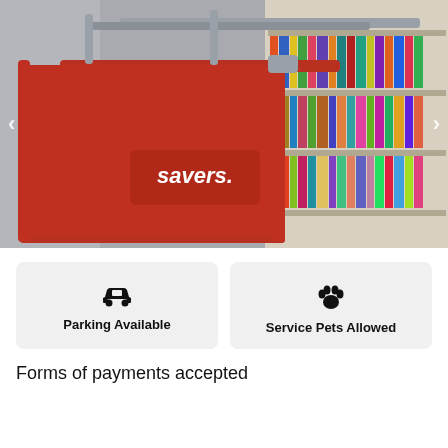[Figure (photo): A red Savers branded shopping cart in a store aisle next to bookshelves filled with colorful books and media. Navigation arrows on left and right sides of the image.]
Parking Available
Service Pets Allowed
Forms of payments accepted